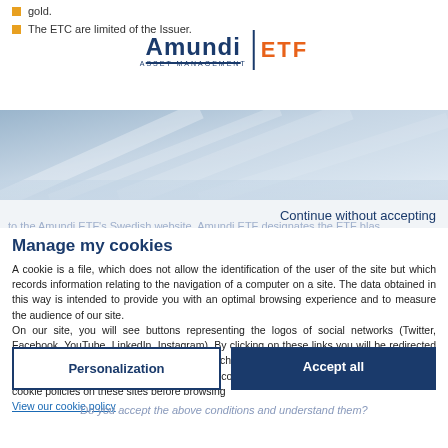gold.
The ETC are limited ... of the Issuer.
[Figure (logo): Amundi ETF Asset Management logo]
[Figure (photo): Abstract architectural banner image with blue/grey tones]
Continue without accepting
Manage my cookies
A cookie is a file, which does not allow the identification of the user of the site but which records information relating to the navigation of a computer on a site. The data obtained in this way is intended to provide you with an optimal browsing experience and to measure the audience of our site.
On our site, you will see buttons representing the logos of social networks (Twitter, Facebook, YouTube, LinkedIn, Instagram). By clicking on these links you will be redirected to these different networks. We do not exchange any personal data with these social networks, however, they may set their own cookies. Therefore, we invite you to read the cookie policies on these sites before browsing
View our cookie policy
Personalization
Accept all
Do you accept the above conditions and understand them?